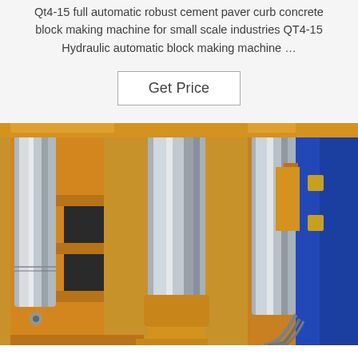Qt4-15 full automatic robust cement paver curb concrete block making machine for small scale industries QT4-15 Hydraulic automatic block making machine …
Get Price
[Figure (photo): Close-up photograph of a yellow hydraulic block making machine with polished silver/chrome vertical cylindrical rods/pistons, orange metal frame structure, and blue metal components on the right side, with hydraulic cables visible.]